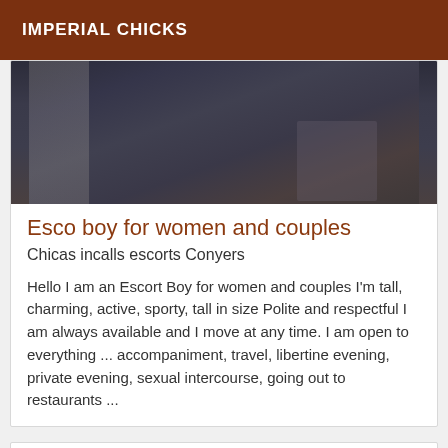IMPERIAL CHICKS
[Figure (photo): Photo showing dark clothing/legs against a grey background]
Esco boy for women and couples
Chicas incalls escorts Conyers
Hello I am an Escort Boy for women and couples I'm tall, charming, active, sporty, tall in size Polite and respectful I am always available and I move at any time. I am open to everything ... accompaniment, travel, libertine evening, private evening, sexual intercourse, going out to restaurants ...
[Figure (other): Second listing card with VIP badge]